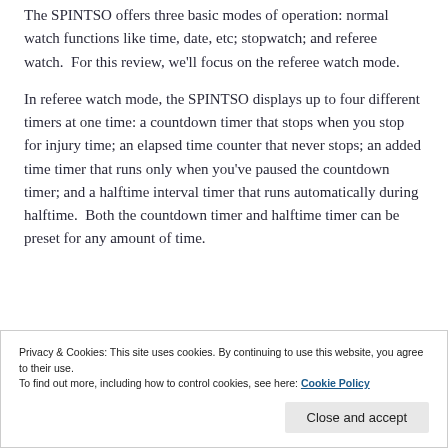The SPINTSO offers three basic modes of operation: normal watch functions like time, date, etc; stopwatch; and referee watch. For this review, we'll focus on the referee watch mode.
In referee watch mode, the SPINTSO displays up to four different timers at one time: a countdown timer that stops when you stop for injury time; an elapsed time counter that never stops; an added time timer that runs only when you've paused the countdown timer; and a halftime interval timer that runs automatically during halftime. Both the countdown timer and halftime timer can be preset for any amount of time.
Privacy & Cookies: This site uses cookies. By continuing to use this website, you agree to their use.
To find out more, including how to control cookies, see here: Cookie Policy